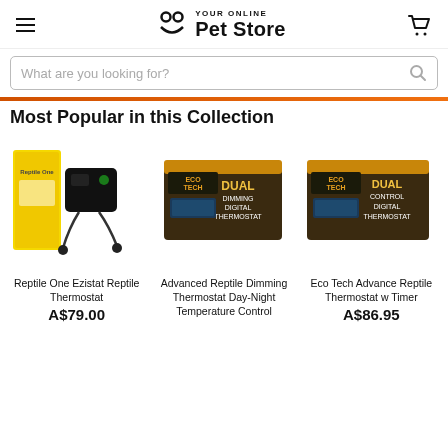YOUR ONLINE Pet Store — navigation header with hamburger menu, logo, and cart icon
What are you looking for?
Most Popular in this Collection
[Figure (photo): Reptile One Ezistat Reptile Thermostat product image — black thermostat device with cords and yellow product box]
Reptile One Ezistat Reptile Thermostat
A$79.00
[Figure (photo): Advanced Reptile Dimming Thermostat Day-Night Temperature Control product image — EcoTech Dual Dimming Digital Thermostat dark box]
Advanced Reptile Dimming Thermostat Day-Night Temperature Control
[Figure (photo): Eco Tech Advanced Reptile Thermostat with Timer product image — EcoTech Dual Control Digital Thermostat dark box]
Eco Tech Advanced Reptile Thermostat w Timer
A$86.95